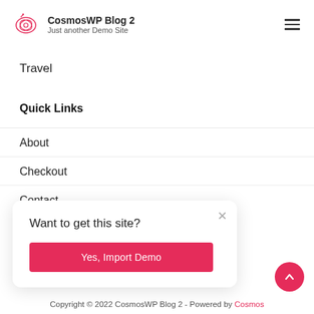CosmosWP Blog 2 – Just another Demo Site
Travel
Quick Links
About
Checkout
Contact
Want to get this site?
Yes, Import Demo
Copyright © 2022 CosmosWP Blog 2 - Powered by CosmosWP